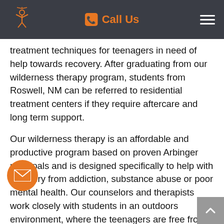Call Us
treatment techniques for teenagers in need of help towards recovery. After graduating from our wilderness therapy program, students from Roswell, NM can be referred to residential treatment centers if they require aftercare and long term support.
Our wilderness therapy is an affordable and productive program based on proven Arbinger principals and is designed specifically to help with recovery from addiction, substance abuse or poor mental health. Our counselors and therapists work closely with students in an outdoors environment, where the teenagers are free from harmful influences and distractions.
...nts from the Roswell, NM area who join the wilderness therapy program can be trained in life